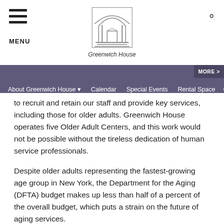[Figure (logo): Greenwich House logo — architectural arch illustration with text 'Greenwich House' below]
MENU | Greenwich House | [search icon] | Navigation bar: About Greenwich House ▾  Calendar  Special Events  Rental Space  MORE > Get I...
to recruit and retain our staff and provide key services, including those for older adults. Greenwich House operates five Older Adult Centers, and this work would not be possible without the tireless dedication of human service professionals.
Despite older adults representing the fastest-growing age group in New York, the Department for the Aging (DFTA) budget makes up less than half of a percent of the overall budget, which puts a strain on the future of aging services.
$40.5 million to grow DFTA's Community Care Initiative